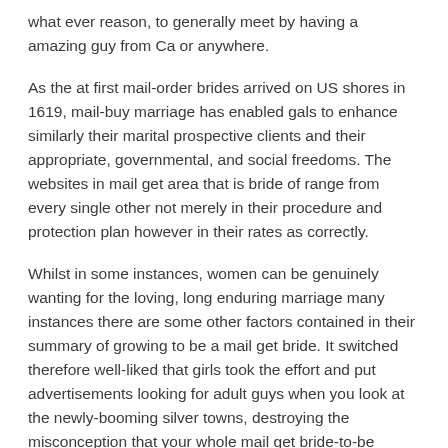what ever reason, to generally meet by having a amazing guy from Ca or anywhere.
As the at first mail-order brides arrived on US shores in 1619, mail-buy marriage has enabled gals to enhance similarly their marital prospective clients and their appropriate, governmental, and social freedoms. The websites in mail get area that is bride of range from every single other not merely in their procedure and protection plan however in their rates as correctly.
Whilst in some instances, women can be genuinely wanting for the loving, long enduring marriage many instances there are some other factors contained in their summary of growing to be a mail get bride. It switched therefore well-liked that girls took the effort and put advertisements looking for adult guys when you look at the newly-booming silver towns, destroying the misconception that your whole mail get bride-to-be process had been a concept that is man's.